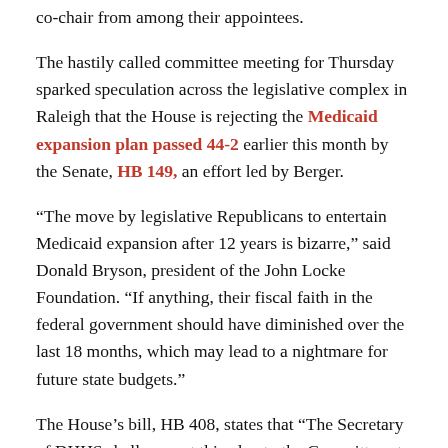co-chair from among their appointees.
The hastily called committee meeting for Thursday sparked speculation across the legislative complex in Raleigh that the House is rejecting the Medicaid expansion plan passed 44-2 earlier this month by the Senate, HB 149, an effort led by Berger.
“The move by legislative Republicans to entertain Medicaid expansion after 12 years is bizarre,” said Donald Bryson, president of the John Locke Foundation. “If anything, their fiscal faith in the federal government should have diminished over the last 18 months, which may lead to a nightmare for future state budgets.”
The House’s bill, HB 408, states that “The Secretary of DHHS shall present this plan to the Committee at a Committee meeting to take place December 15, 2022. The Committee shall vote on its recommendation at that time.”
The bill also lays out some requirements of NCDHHS’ proposed expansion plan including that, “Individuals who